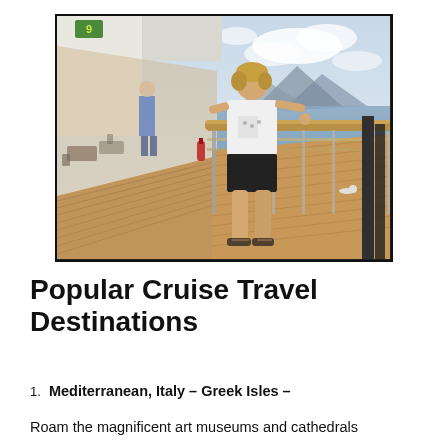[Figure (photo): A woman in a white t-shirt and black shorts stands on the wooden deck of a cruise ship, leaning on a railing. The ocean and mountains are visible in the background. A corridor of deck chairs and another person in blue are visible behind her.]
Popular Cruise Travel Destinations
Mediterranean, Italy – Greek Isles –
Roam the magnificent art museums and cathedrals